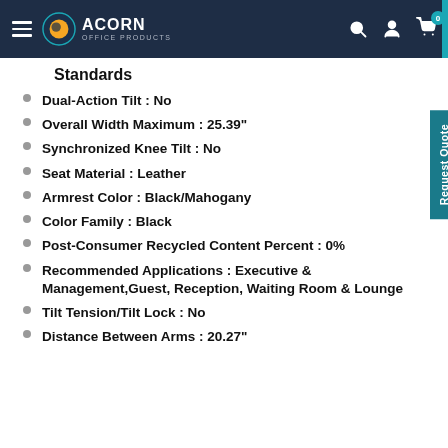Acorn Office Products
Standards
Dual-Action Tilt : No
Overall Width Maximum : 25.39"
Synchronized Knee Tilt : No
Seat Material : Leather
Armrest Color : Black/Mahogany
Color Family : Black
Post-Consumer Recycled Content Percent : 0%
Recommended Applications : Executive & Management,Guest, Reception, Waiting Room & Lounge
Tilt Tension/Tilt Lock : No
Distance Between Arms : 20.27"